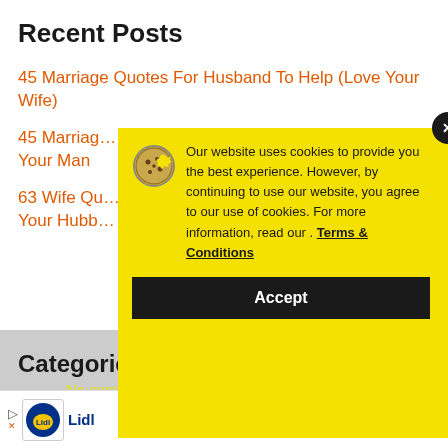Recent Posts
45 Marriage Quotes For Husband To Help (Love Your Wife)
45 Marriag… Your Man
63 Wife Qu… Your Hubb…
Categorie…
[Figure (screenshot): Cookie consent popup overlay on a website. Yellow background popup with cookie icon, text about website cookies policy, Terms & Conditions link, and Accept button. Black circular X close button in top-right corner.]
Our website uses cookies to provide you the best experience. However, by continuing to use our website, you agree to our use of cookies. For more information, read our . Terms & Conditions
No compatible source was found for this media.
[Figure (logo): Lidl logo in ad bar at bottom]